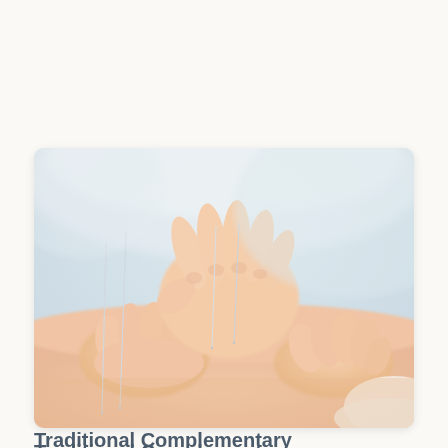[Figure (photo): Close-up photo of an acupuncture treatment: hands inserting thin acupuncture needles into a patient's bare back/skin, with thin metallic needles visible inserted into the skin.]
Traditional Complementary Medicine (TCM)